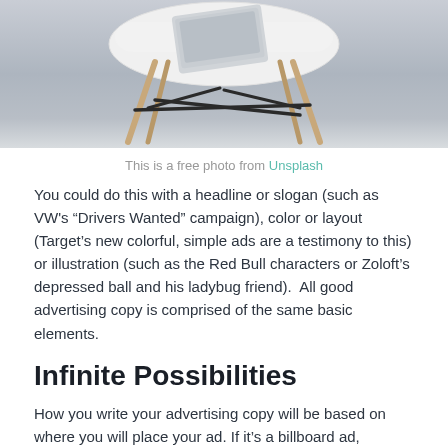[Figure (photo): Photo of a white modern Eames-style chair with wooden legs, with what appears to be a laptop or book resting on it, against a light gray background]
This is a free photo from Unsplash
You could do this with a headline or slogan (such as VW's “Drivers Wanted” campaign), color or layout (Target’s new colorful, simple ads are a testimony to this) or illustration (such as the Red Bull characters or Zoloft’s depressed ball and his ladybug friend).  All good advertising copy is comprised of the same basic elements.
Infinite Possibilities
How you write your advertising copy will be based on where you will place your ad. If it’s a billboard ad,